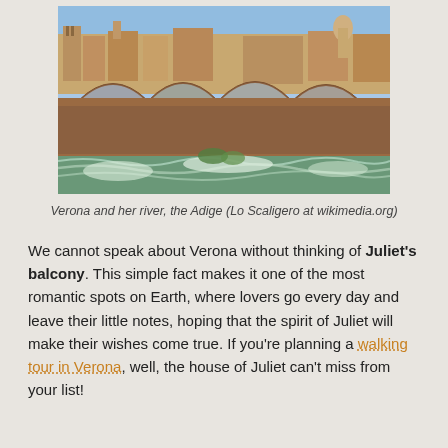[Figure (photo): Photograph of a stone arch bridge over the Adige river in Verona, with historic buildings in the background and rushing green-white water below.]
Verona and her river, the Adige (Lo Scaligero at wikimedia.org)
We cannot speak about Verona without thinking of Juliet's balcony. This simple fact makes it one of the most romantic spots on Earth, where lovers go every day and leave their little notes, hoping that the spirit of Juliet will make their wishes come true. If you're planning a walking tour in Verona, well, the house of Juliet can't miss from your list!